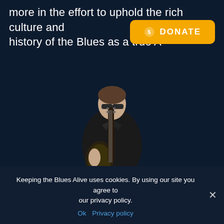more in the effort to uphold the rich culture and history of the Blues as a true A
[Figure (other): Orange donate button with dollar sign icon and text DONATE]
[Figure (photo): Man in black blazer and sunglasses holding an electric guitar (Les Paul style) against a dark blue background]
Keeping the Blues Alive uses cookies. By using our site you agree to our privacy policy.
Ok  Privacy policy